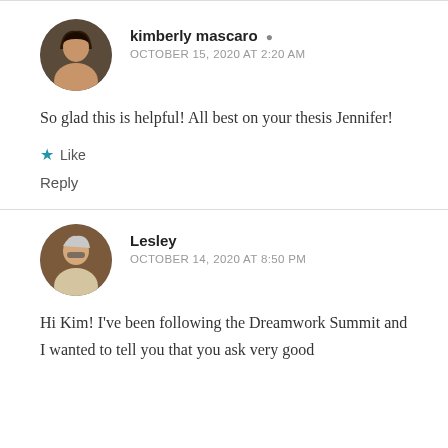kimberly mascaro — OCTOBER 15, 2020 AT 2:20 AM
So glad this is helpful! All best on your thesis Jennifer!
Like
Reply
Lesley — OCTOBER 14, 2020 AT 8:50 PM
Hi Kim! I've been following the Dreamwork Summit and I wanted to tell you that you ask very good